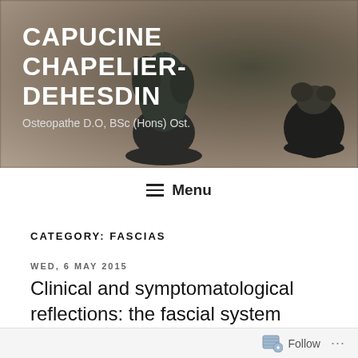[Figure (photo): Website header banner with dark-tinted background showing potted plants (a cactus-like plant and a round succulent pot) on a wooden surface. Site title and subtitle overlaid in white text.]
CAPUCINE CHAPELIER-DEHESDIN
Osteopathe D.O, BSc (Hons) Ost.
≡ Menu
CATEGORY: FASCIAS
WED, 6 MAY 2015
Clinical and symptomatological reflections: the fascial system
“Abstract
Follow ...